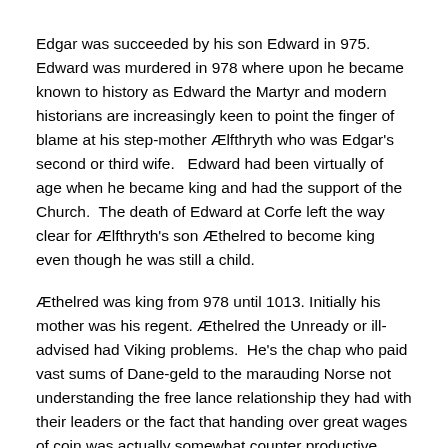Edgar was succeeded by his son Edward in 975.  Edward was murdered in 978 where upon he became known to history as Edward the Martyr and modern historians are increasingly keen to point the finger of blame at his step-mother Ælfthryth who was Edgar's second or third wife.   Edward had been virtually of age when he became king and had the support of the Church.  The death of Edward at Corfe left the way clear for Ælfthryth's son Æthelred to become king even though he was still a child.
Æthelred was king from 978 until 1013. Initially his mother was his regent. Æthelred the Unready or ill-advised had Viking problems.  He's the chap who paid vast sums of Dane-geld to the marauding Norse not understanding the free lance relationship they had with their leaders or the fact that handing over great wages of coin was actually somewhat counter productive.
In 1013 King Sweyn Forkbeard invaded England and Æthelred fled to Normandy. Sweyn died the following year. Æthelred returned and ruled until he died in 1016.
He was succeeded by his son Edmund Ironside. It was a short